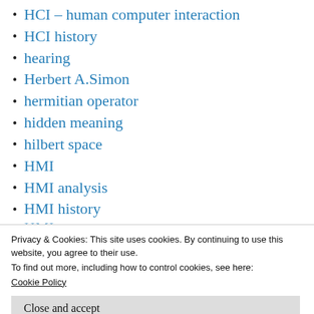HCI – human computer interaction
HCI history
hearing
Herbert A.Simon
hermitian operator
hidden meaning
hilbert space
HMI
HMI analysis
HMI history
HMI ...
Privacy & Cookies: This site uses cookies. By continuing to use this website, you agree to their use.
To find out more, including how to control cookies, see here:
Cookie Policy
human centered ai